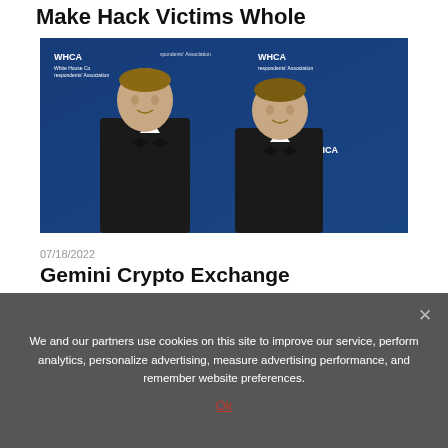Make Hack Victims Whole
[Figure (photo): Two men in black tuxedos with bow ties standing in front of a WHCA (White House Correspondents' Association) blue background banner. They appear to be twins.]
07/18/2022
Gemini Crypto Exchange
We and our partners use cookies on this site to improve our service, perform analytics, personalize advertising, measure advertising performance, and remember website preferences.
Ok